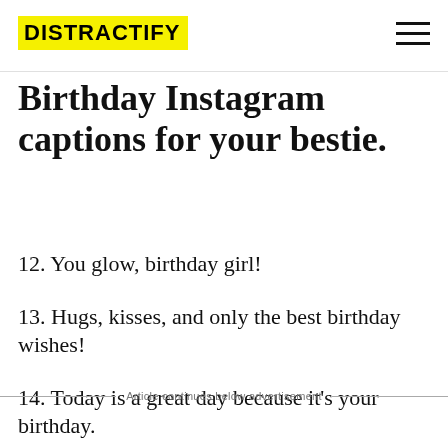DISTRACTIFY
Birthday Instagram captions for your bestie.
12. You glow, birthday girl!
13. Hugs, kisses, and only the best birthday wishes!
14. Today is a great day because it's your birthday.
15. On this day, a queen was born.
Article continues below advertisement